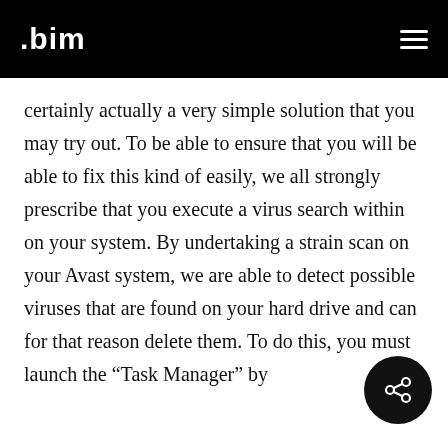.bim
certainly actually a very simple solution that you may try out. To be able to ensure that you will be able to fix this kind of easily, we all strongly prescribe that you execute a virus search within on your system. By undertaking a strain scan on your Avast system, we are able to detect possible viruses that are found on your hard drive and can for that reason delete them. To do this, you must launch the “Task Manager” by